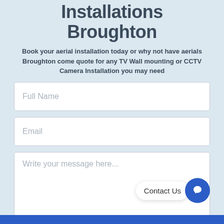Installations Broughton
Book your aerial installation today or why not have aerials Broughton come quote for any TV Wall mounting or CCTV Camera Installation you may need
[Figure (screenshot): Web contact form with fields for Full Name, Email, and a message textarea, plus a Contact Us chat bubble button in the bottom right]
[Figure (other): Blue Contact Us chat bubble with speech icon in bottom right corner]